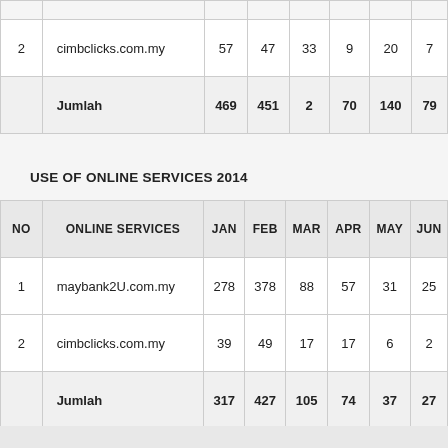| NO | ONLINE SERVICES | JAN | FEB | MAR | APR | MAY | JUN |
| --- | --- | --- | --- | --- | --- | --- | --- |
| 2 | cimbclicks.com.my | 57 | 47 | 33 | 9 | 20 | 7 |
|  | Jumlah | 469 | 451 | 2 | 70 | 140 | 79 |
USE OF ONLINE SERVICES 2014
| NO | ONLINE SERVICES | JAN | FEB | MAR | APR | MAY | JUN |
| --- | --- | --- | --- | --- | --- | --- | --- |
| 1 | maybank2U.com.my | 278 | 378 | 88 | 57 | 31 | 25 |
| 2 | cimbclicks.com.my | 39 | 49 | 17 | 17 | 6 | 2 |
|  | Jumlah | 317 | 427 | 105 | 74 | 37 | 27 |